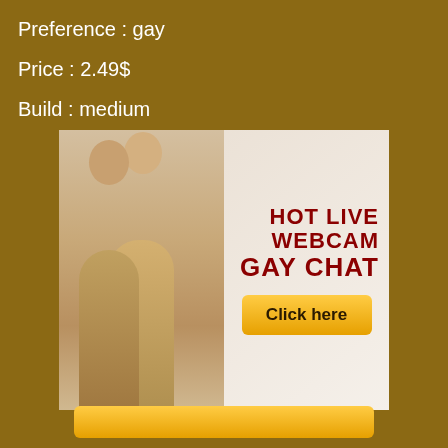Preference : gay
Price : 2.49$
Build : medium
[Figure (advertisement): HOT LIVE WEBCAM GAY CHAT advertisement banner with Click here button]
[Figure (other): Orange button at bottom of page]